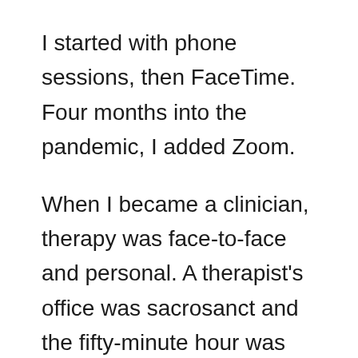I started with phone sessions, then FaceTime. Four months into the pandemic, I added Zoom.
When I became a clinician, therapy was face-to-face and personal. A therapist's office was sacrosanct and the fifty-minute hour was uninterrupted by the world outside. But our world changed and I had to adapt. Fast.
I'm less than a novice when it comes